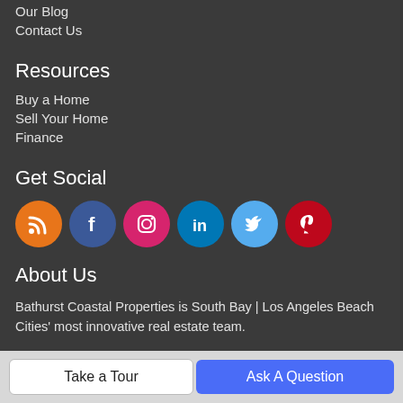Our Blog
Contact Us
Resources
Buy a Home
Sell Your Home
Finance
Get Social
[Figure (illustration): Row of six social media icon circles: RSS (orange), Facebook (dark blue), Instagram (pink/magenta), LinkedIn (blue), Twitter (light blue), Pinterest (red)]
About Us
Bathurst Coastal Properties is South Bay | Los Angeles Beach Cities' most innovative real estate team.
Take a Tour
Ask A Question